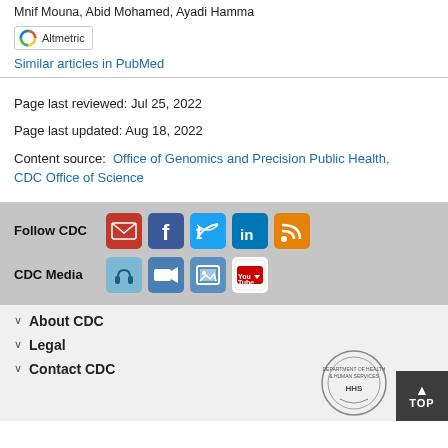Mnif Mouna, Abid Mohamed, Ayadi Hamma
[Figure (logo): Altmetric badge/donut logo]
Similar articles in PubMed
Page last reviewed: Jul 25, 2022
Page last updated: Aug 18, 2022
Content source:  Office of Genomics and Precision Public Health, CDC Office of Science
Follow CDC
[Figure (infographic): Social media icons: email/govDelivery, Facebook, Twitter, LinkedIn, RSS feed]
CDC Media
[Figure (infographic): CDC Media icons: podcast/headphones, video camera, photo gallery, YouTube]
About CDC
Legal
Contact CDC
[Figure (logo): HHS Department of Health and Human Services circular seal logo]